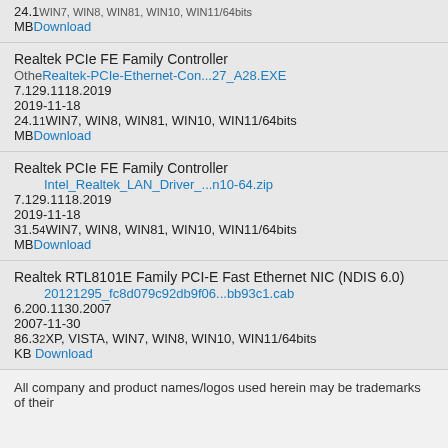24.1 MB WIN7, WIN8, WIN81, WIN10, WIN11/64bits Download
Realtek PCIe FE Family Controller
Other Realtek-PCIe-Ethernet-Con...27_A28.EXE
7.129.1118.2019
2019-11-18
24.11 WIN7, WIN8, WIN81, WIN10, WIN11/64bits MB Download
Realtek PCIe FE Family Controller
Intel_Realtek_LAN_Driver_...n10-64.zip
7.129.1118.2019
2019-11-18
31.54 WIN7, WIN8, WIN81, WIN10, WIN11/64bits MB Download
Realtek RTL8101E Family PCI-E Fast Ethernet NIC (NDIS 6.0)
20121295_fc8d079c92db9f06...bb93c1.cab
6.200.1130.2007
2007-11-30
86.32 XP, VISTA, WIN7, WIN8, WIN10, WIN11/64bits KB Download
All company and product names/logos used herein may be trademarks of their